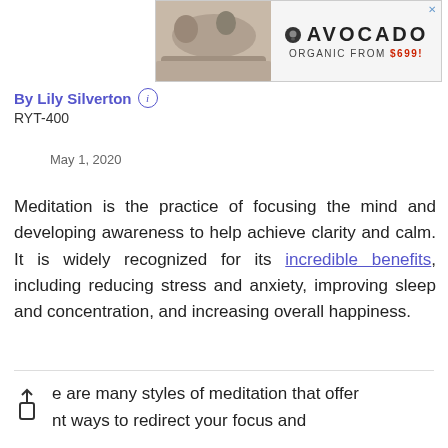[Figure (other): Avocado mattress advertisement banner showing a couple lying on a mattress with text AVOCADO ORGANIC FROM $699!]
By Lily Silverton ⓘ
RYT-400
May 1, 2020
Meditation is the practice of focusing the mind and developing awareness to help achieve clarity and calm. It is widely recognized for its incredible benefits, including reducing stress and anxiety, improving sleep and concentration, and increasing overall happiness.
there are many styles of meditation that offer different ways to redirect your focus and